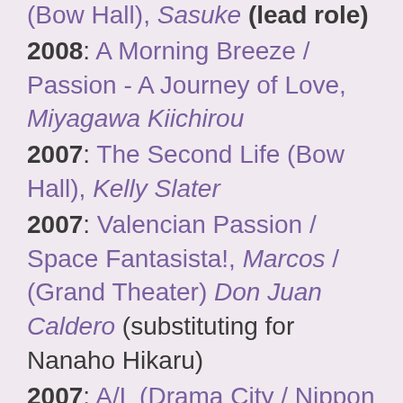2008: Complete Devotion (Bow Hall), Sasuke (lead role)
2008: A Morning Breeze / Passion - A Journey of Love, Miyagawa Kiichirou
2007: The Second Life (Bow Hall), Kelly Slater
2007: Valencian Passion / Space Fantasista!, Marcos / (Grand Theater) Don Juan Caldero (substituting for Nanaho Hikaru)
2007: A/L (Drama City / Nippon Seinenkan / Chunichi), Donis Candela
2006-07: Sketches From the Life Of Ryoma Sakamoto / The Classical